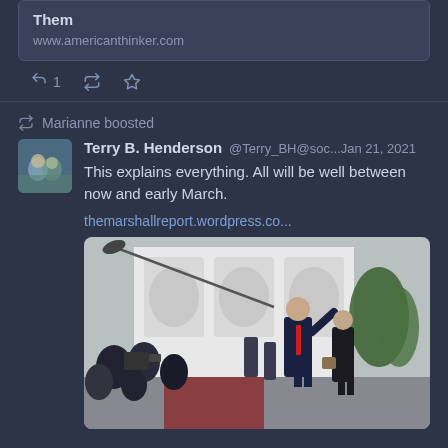Them
www.americanthinker.com
1 [retweet icon] [star icon]
Marianne boosted
Terry B. Henderson @Terry_BH@soc... Jan 21, 2021
This explains everything. All will be well between now and early March.

themarshallreport.wordpress.co...
[Figure (photo): Outdoor photo showing a man in a suit raising one hand to a crowd of media/photographers outside a white building, with a woman in dark clothes standing nearby on a red carpet. Appears to be taken at the White House.]